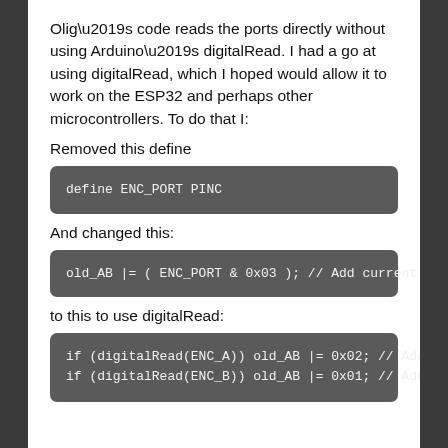Olig’s code reads the ports directly without using Arduino’s digitalRead. I had a go at using digitalRead, which I hoped would allow it to work on the ESP32 and perhaps other microcontrollers. To do that I:
Removed this define
define ENC_PORT PINC
And changed this:
old_AB |= ( ENC_PORT & 0x03 ); // Add current state
to this to use digitalRead:
if (digitalRead(ENC_A)) old_AB |= 0x02; // Add current state of pin A
if (digitalRead(ENC_B)) old_AB |= 0x01; // Add current state of pin B